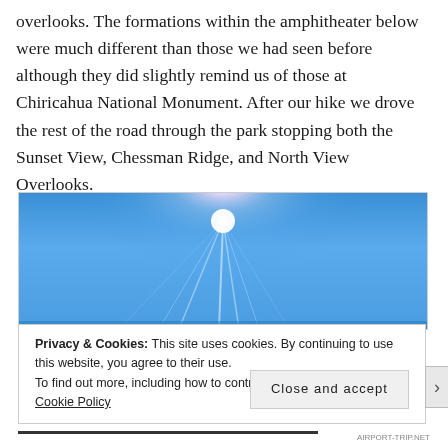overlooks. The formations within the amphitheater below were much different than those we had seen before although they did slightly remind us of those at Chiricahua National Monument. After our hike we drove the rest of the road through the park stopping both the Sunset View, Chessman Ridge, and North View Overlooks.
[Figure (photo): A bright blue sky with sunlight rays emanating from the center upper area, creating a starburst effect against the blue sky.]
Privacy & Cookies: This site uses cookies. By continuing to use this website, you agree to their use.
To find out more, including how to control cookies, see here:
Cookie Policy